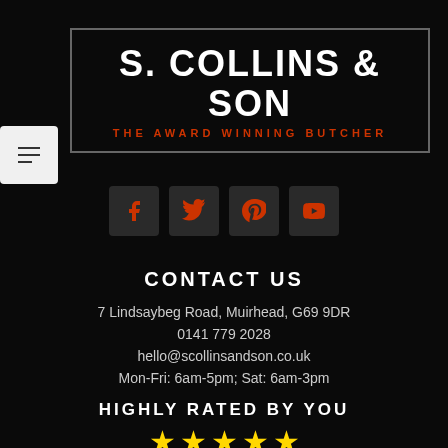[Figure (logo): S. Collins & Son logo - white text on black background with red subtitle 'THE AWARD WINNING BUTCHER', framed in a grey border rectangle]
[Figure (infographic): Social media icons row: Facebook, Twitter, Pinterest, YouTube - dark square buttons with red icons]
CONTACT US
7 Lindsaybeg Road, Muirhead, G69 9DR
0141 779 2028
hello@scollinsandson.co.uk
Mon-Fri: 6am-5pm; Sat: 6am-3pm
HIGHLY RATED BY YOU
[Figure (infographic): Five gold star rating icons]